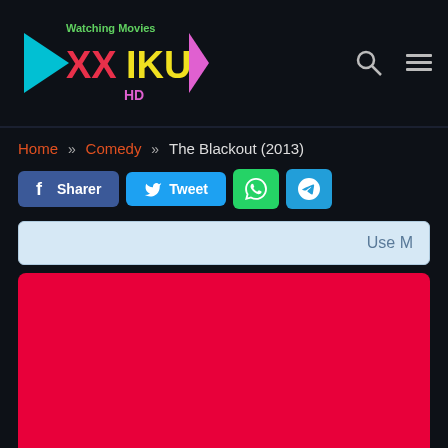OXXIKU HD - Watching Movies
Home » Comedy » The Blackout (2013)
Sharer | Tweet | WhatsApp | Telegram
Use M
[Figure (other): Red content/video placeholder area]